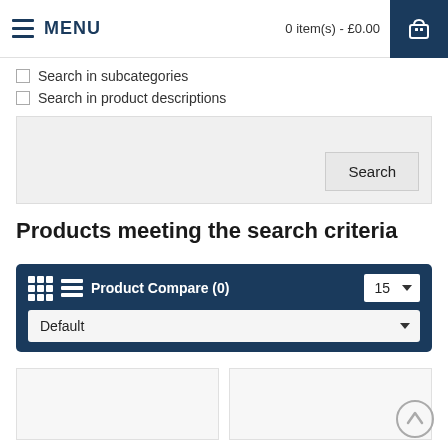MENU   0 item(s) - £0.00
Search in subcategories
Search in product descriptions
[Figure (screenshot): Search input box with Search button on right]
Products meeting the search criteria
[Figure (screenshot): Product toolbar with grid/list view icons, Product Compare (0) text, per-page selector showing 15, and Default sort dropdown]
[Figure (screenshot): Two empty product card placeholders side by side]